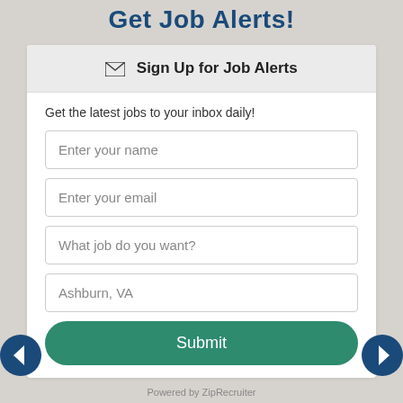Get Job Alerts!
Sign Up for Job Alerts
Get the latest jobs to your inbox daily!
Enter your name
Enter your email
What job do you want?
Ashburn, VA
Submit
Powered by ZipRecruiter